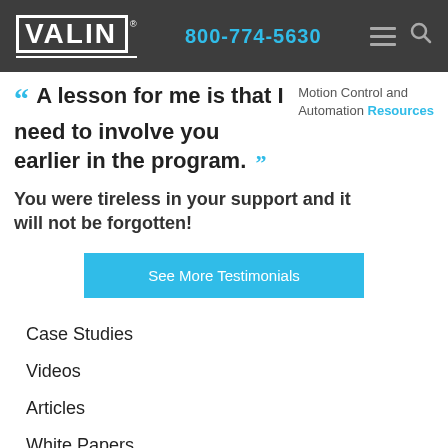VALIN  800-774-5630
“ A lesson for me is that I need to involve you earlier in the program. ”
Motion Control and Automation Resources
You were tireless in your support and it will not be forgotten!
See More Testimonials
Case Studies
Videos
Articles
White Papers
Blog